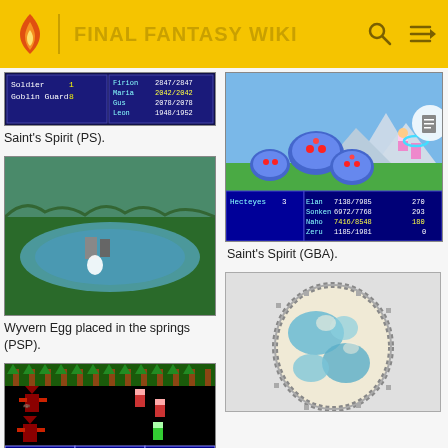FINAL FANTASY WIKI
[Figure (screenshot): PS version battle screenshot showing Soldier, Goblin Guard vs Firion, Maria, Gus, Leon with HP bars]
Saint's Spirit (PS).
[Figure (screenshot): PSP version screenshot of Wyvern Egg placed in the springs, showing cave/pool scene with characters]
Wyvern Egg placed in the springs (PSP).
[Figure (screenshot): NES version battle screenshot showing winged enemy characters vs player characters with Fight, R/Hand, Item menu]
[Figure (screenshot): GBA version battle screenshot showing Hecteyes x3 vs Elan, Sonken, Naho, Zeru with HP stats]
Saint's Spirit (GBA).
[Figure (illustration): Pixelated egg item image - blue and cream colored egg sprite]